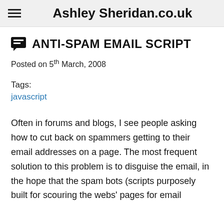Ashley Sheridan.co.uk
ANTI-SPAM EMAIL SCRIPT
Posted on 5th March, 2008
Tags:
javascript
Often in forums and blogs, I see people asking how to cut back on spammers getting to their email addresses on a page. The most frequent solution to this problem is to disguise the email, in the hope that the spam bots (scripts purposely built for scouring the webs' pages for email